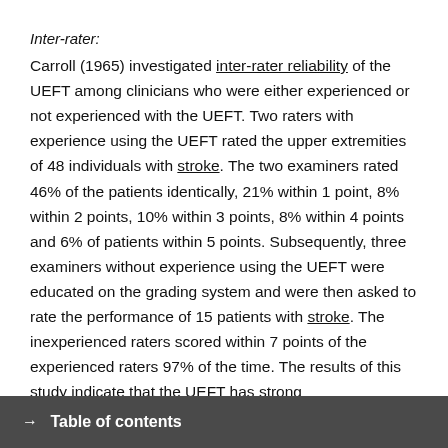Inter-rater:
Carroll (1965) investigated inter-rater reliability of the UEFT among clinicians who were either experienced or not experienced with the UEFT. Two raters with experience using the UEFT rated the upper extremities of 48 individuals with stroke. The two examiners rated 46% of the patients identically, 21% within 1 point, 8% within 2 points, 10% within 3 points, 8% within 4 points and 6% of patients within 5 points. Subsequently, three examiners without experience using the UEFT were educated on the grading system and were then asked to rate the performance of 15 patients with stroke. The inexperienced raters scored within 7 points of the experienced raters 97% of the time. The results of this study indicate that the UEFT has strong
→ Table of contents